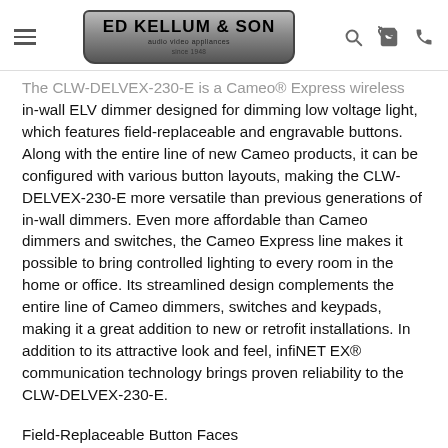ED KELLUM & SON audio video appliances since 1948
The CLW-DELVEX-230-E is a Cameo® Express wireless in-wall ELV dimmer designed for dimming low voltage light, which features field-replaceable and engravable buttons. Along with the entire line of new Cameo products, it can be configured with various button layouts, making the CLW-DELVEX-230-E more versatile than previous generations of in-wall dimmers. Even more affordable than Cameo dimmers and switches, the Cameo Express line makes it possible to bring controlled lighting to every room in the home or office. Its streamlined design complements the entire line of Cameo dimmers, switches and keypads, making it a great addition to new or retrofit installations. In addition to its attractive look and feel, infiNET EX® communication technology brings proven reliability to the CLW-DELVEX-230-E.
Field-Replaceable Button Faces
Like their cousin Cameo keypads, the buttons on the CLW-DELVEX-230-E can be swapped in the field, making it easy to change engraving or color after installation. The